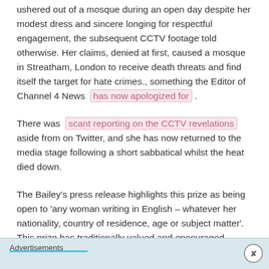ushered out of a mosque during an open day despite her modest dress and sincere longing for respectful engagement, the subsequent CCTV footage told otherwise. Her claims, denied at first, caused a mosque in Streatham, London to receive death threats and find itself the target for hate crimes., something the Editor of Channel 4 News has now apologized for .
There was scant reporting on the CCTV revelations aside from on Twitter, and she has now returned to the media stage following a short sabbatical whilst the heat died down.
The Bailey's press release highlights this prize as being open to 'any woman writing in English – whatever her nationality, country of residence, age or subject matter'. This prize has traditionally valued and encouraged
Advertisements